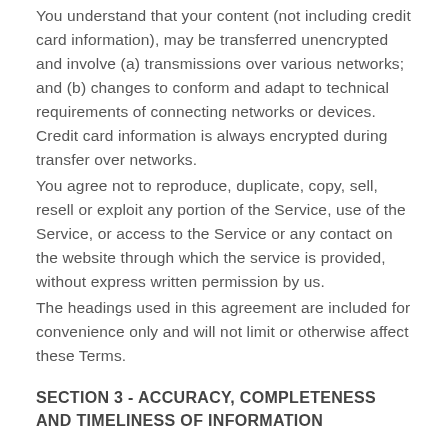You understand that your content (not including credit card information), may be transferred unencrypted and involve (a) transmissions over various networks; and (b) changes to conform and adapt to technical requirements of connecting networks or devices. Credit card information is always encrypted during transfer over networks.
You agree not to reproduce, duplicate, copy, sell, resell or exploit any portion of the Service, use of the Service, or access to the Service or any contact on the website through which the service is provided, without express written permission by us.
The headings used in this agreement are included for convenience only and will not limit or otherwise affect these Terms.
SECTION 3 - ACCURACY, COMPLETENESS AND TIMELINESS OF INFORMATION